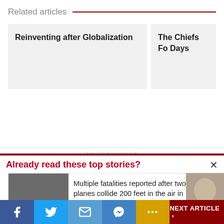Related articles
Reinventing after Globalization
The Chiefs Fo Days
ADVERTISEMENT
Already read these top stories?
Multiple fatalities reported after two small planes collide 200 feet in the air in California
NEXT ARTICLE >